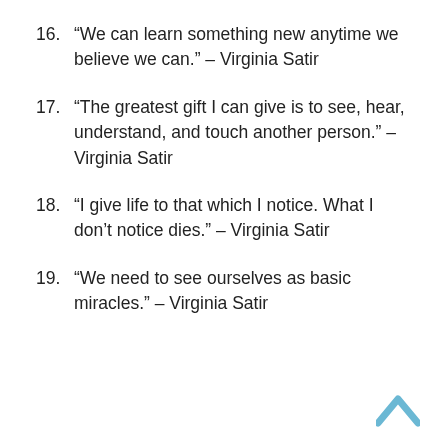16. “We can learn something new anytime we believe we can.” – Virginia Satir
17. “The greatest gift I can give is to see, hear, understand, and touch another person.” – Virginia Satir
18. “I give life to that which I notice. What I don’t notice dies.” – Virginia Satir
19. “We need to see ourselves as basic miracles.” – Virginia Satir